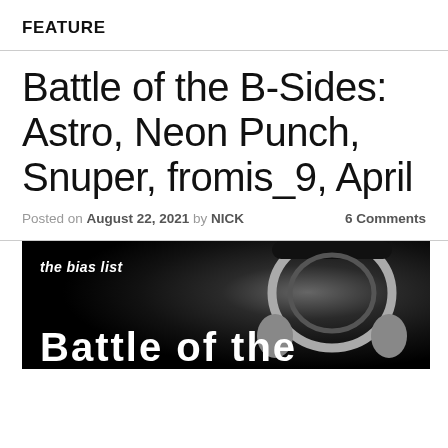FEATURE
Battle of the B-Sides: Astro, Neon Punch, Snuper, fromis_9, April
Posted on August 22, 2021 by NICK   6 Comments
[Figure (photo): Dark banner image with headphones and 'the bias list' text and 'Battle of the' large white text at the bottom]